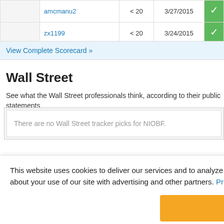|  | User | Score | Date |  |
| --- | --- | --- | --- | --- |
|  | amcmanu2 | < 20 | 3/27/2015 |  |
|  | zx1199 | < 20 | 3/24/2015 |  |
View Complete Scorecard »
Wall Street
See what the Wall Street professionals think, according to their public statements
There are no Wall Street tracker picks for NIOBF.
This website uses cookies to deliver our services and to analyze traffic. We also share information about your use of our site with advertising and other partners. Privacy Policy
Got it
Cookie Settings